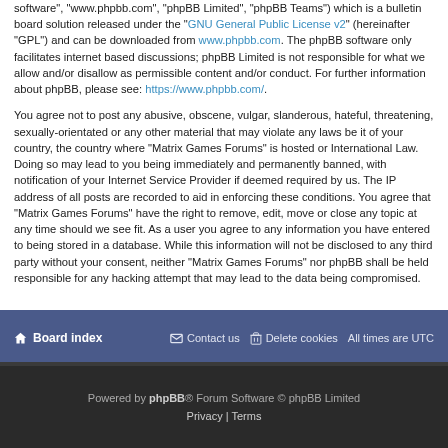software", "www.phpbb.com", "phpBB Limited", "phpBB Teams") which is a bulletin board solution released under the "GNU General Public License v2" (hereinafter "GPL") and can be downloaded from www.phpbb.com. The phpBB software only facilitates internet based discussions; phpBB Limited is not responsible for what we allow and/or disallow as permissible content and/or conduct. For further information about phpBB, please see: https://www.phpbb.com/.
You agree not to post any abusive, obscene, vulgar, slanderous, hateful, threatening, sexually-orientated or any other material that may violate any laws be it of your country, the country where “Matrix Games Forums” is hosted or International Law. Doing so may lead to you being immediately and permanently banned, with notification of your Internet Service Provider if deemed required by us. The IP address of all posts are recorded to aid in enforcing these conditions. You agree that “Matrix Games Forums” have the right to remove, edit, move or close any topic at any time should we see fit. As a user you agree to any information you have entered to being stored in a database. While this information will not be disclosed to any third party without your consent, neither “Matrix Games Forums” nor phpBB shall be held responsible for any hacking attempt that may lead to the data being compromised.
Board index   Contact us   Delete cookies   All times are UTC
Powered by phpBB® Forum Software © phpBB Limited
Privacy | Terms